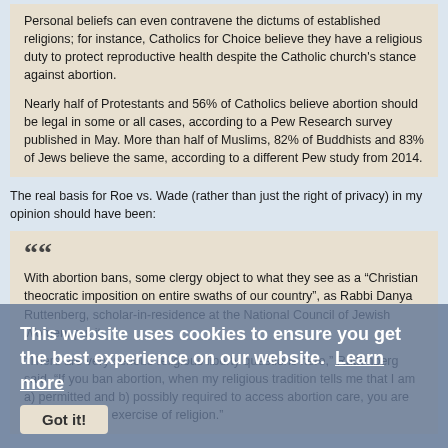Personal beliefs can even contravene the dictums of established religions; for instance, Catholics for Choice believe they have a religious duty to protect reproductive health despite the Catholic church's stance against abortion.
Nearly half of Protestants and 56% of Catholics believe abortion should be legal in some or all cases, according to a Pew Research survey published in May. More than half of Muslims, 82% of Buddhists and 83% of Jews believe the same, according to a different Pew study from 2014.
The real basis for Roe vs. Wade (rather than just the right of privacy) in my opinion should have been:
With abortion bans, some clergy object to what they see as a “Christian theocratic imposition on entire swaths of our country”, as Rabbi Danya Ruttenberg, scholar-in-residence at the National Council of Jewish Women, put it.
“There are very serious religious liberty questions here,” Ruttenberg said. “If you ban abortion, when my religious tradition tells me that I am a) permitted and b) possibly required to access abortion care, you are limiting my free exercise of religion.”
This website uses cookies to ensure you get the best experience on our website. Learn more
Got it!